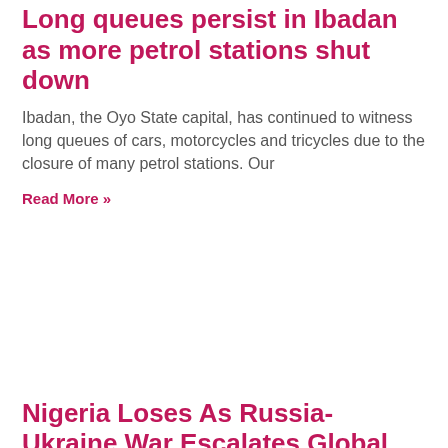Long queues persist in Ibadan as more petrol stations shut down
Ibadan, the Oyo State capital, has continued to witness long queues of cars, motorcycles and tricycles due to the closure of many petrol stations. Our
Read More »
Nigeria Loses As Russia-Ukraine War Escalates Global Oil Prices
The escalating war between Russia and Ukraine has sent oil prices to